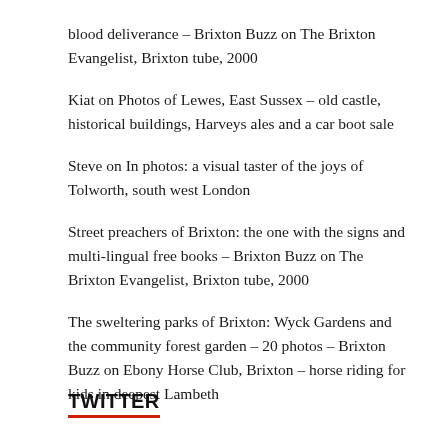blood deliverance – Brixton Buzz on The Brixton Evangelist, Brixton tube, 2000
Kiat on Photos of Lewes, East Sussex – old castle, historical buildings, Harveys ales and a car boot sale
Steve on In photos: a visual taster of the joys of Tolworth, south west London
Street preachers of Brixton: the one with the signs and multi-lingual free books – Brixton Buzz on The Brixton Evangelist, Brixton tube, 2000
The sweltering parks of Brixton: Wyck Gardens and the community forest garden – 20 photos – Brixton Buzz on Ebony Horse Club, Brixton – horse riding for kids in deepest Lambeth
TWITTER